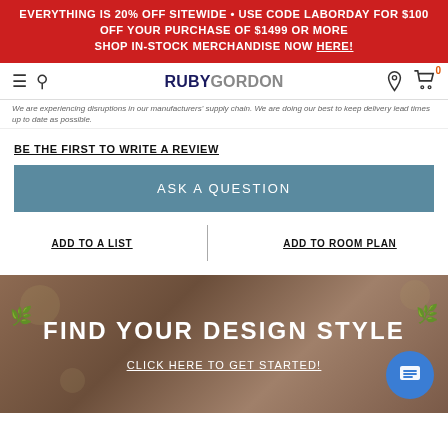EVERYTHING IS 20% OFF SITEWIDE • USE CODE LABORDAY FOR $100 OFF YOUR PURCHASE OF $1499 OR MORE SHOP IN-STOCK MERCHANDISE NOW HERE!
[Figure (screenshot): Ruby Gordon navigation bar with hamburger menu, search, logo, location pin, and cart icons]
We are experiencing disruptions in our manufacturers' supply chain. We are doing our best to keep delivery lead times up to date as possible.
BE THE FIRST TO WRITE A REVIEW
ASK A QUESTION
ADD TO A LIST
ADD TO ROOM PLAN
[Figure (photo): Find Your Design Style promotional banner with dark brown/taupe background and leaf decorations. Text: FIND YOUR DESIGN STYLE and CLICK HERE TO GET STARTED!]